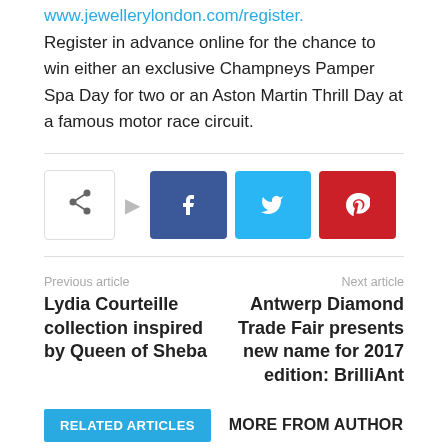www.jewellerylondon.com/register.
Register in advance online for the chance to win either an exclusive Champneys Pamper Spa Day for two or an Aston Martin Thrill Day at a famous motor race circuit.
[Figure (infographic): Social sharing buttons: share icon with arrow, Facebook (f), Twitter (bird), Pinterest (p)]
Previous article
Lydia Courteille collection inspired by Queen of Sheba
Next article
Antwerp Diamond Trade Fair presents new name for 2017 edition: BrilliAnt
RELATED ARTICLES
MORE FROM AUTHOR